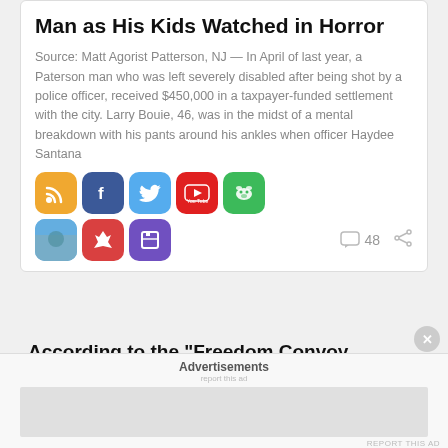Man as His Kids Watched in Horror
Source: Matt Agorist Patterson, NJ — In April of last year, a Paterson man who was left severely disabled after being shot by a police officer, received $450,000 in a taxpayer-funded settlement with the city. Larry Bouie, 46, was in the midst of a mental breakdown with his pants around his ankles when officer Haydee Santana
[Figure (screenshot): Social media sharing icons: RSS (orange), Facebook (blue), Twitter (light blue), YouTube (red), Frog/Reddit-style (green), Telegram (blue with photo), NYT-style (red with leaf), Report (purple). Comment count: 48. Share icon.]
Continue reading...
According to the "Freedom Convoy 2022" Go Fund Me
Advertisements
REPORT THIS AD